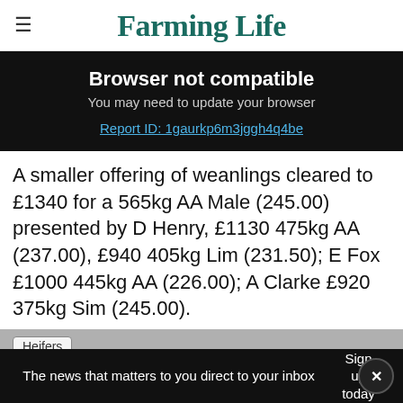Farming Life
Browser not compatible
You may need to update your browser
Report ID: 1gaurkp6m3jggh4q4be
A smaller offering of weanlings cleared to £1340 for a 565kg AA Male (245.00) presented by D Henry, £1130 475kg AA (237.00), £940 405kg Lim (231.50); E Fox £1000 445kg AA (226.00); A Clarke £920 375kg Sim (245.00).
The news that matters to you direct to your inbox  Sign up today